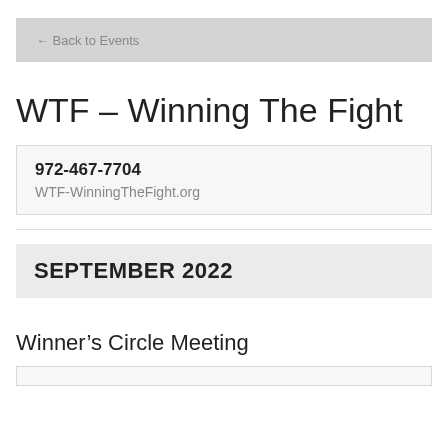← Back to Events
WTF – Winning The Fight
972-467-7704
WTF-WinningTheFight.org
SEPTEMBER 2022
Winner's Circle Meeting